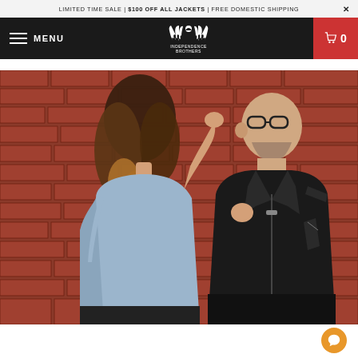LIMITED TIME SALE | $100 OFF ALL JACKETS | FREE DOMESTIC SHIPPING ×
[Figure (screenshot): Navigation bar with hamburger menu (MENU), Independence Brothers winged logo in center, red cart icon with 0 on right, on dark background]
[Figure (photo): Two people standing against a red brick wall. A woman with long wavy brown/blonde hair wearing a light blue shirt faces a bald man wearing a black leather biker jacket and glasses. She appears to be adjusting his jacket or glasses.]